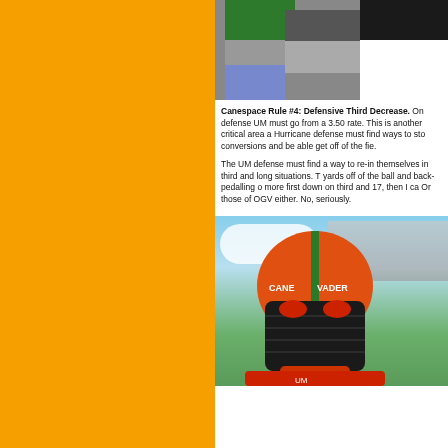[Figure (photo): Photo of people standing outdoors, showing torsos/legs only. One person in green shirt, one in gray pants, one in black.]
Canespace Rule #4: Defensive Third Down Conversion Rate Must Decrease. On defense UM must go from a 3.50 rate. This is another critical area and the Hurricane defense must find ways to stop conversions and be able get off of the field.

The UM defense must find a way to re-invent themselves in third and long situations. The yards off of the ball and back-pedalling or more first down on third and 17, then I ca... Or those of OGV either. No, seriously.
[Figure (photo): Person wearing an orange Darth Vader-style helmet with green stripe, University of Miami themed, at a football stadium with blue sky and clouds in background.]